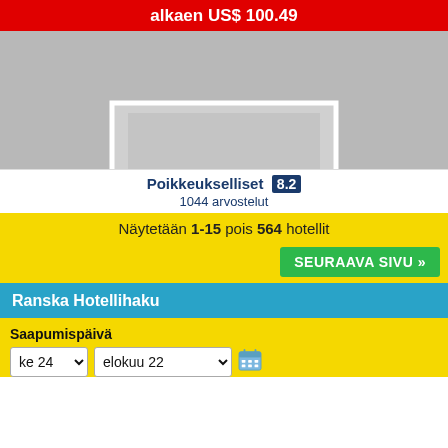alkaen US$ 100.49
[Figure (photo): Gray placeholder image area with a white-bordered rectangle and rounded shape at bottom, representing a hotel photo placeholder]
Poikkeukselliset 8.2
1044 arvostelut
Näytetään 1-15 pois 564 hotellit
SEURAAVA SIVU »
Ranska Hotellihaku
Saapumispäivä
ke 24   elokuu 22